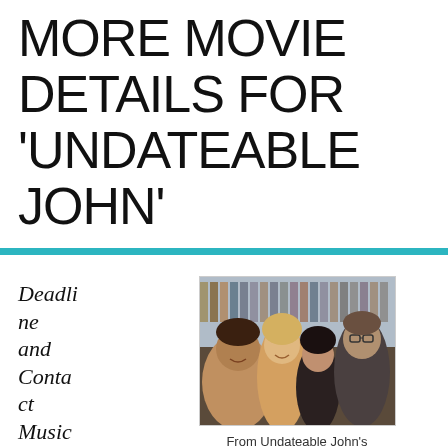MORE MOVIE DETAILS FOR 'UNDATEABLE JOHN'
Deadline and Contact Music have more detail
[Figure (photo): Four people posing together in what appears to be a store with shelves of bottles in the background. Two men and two women smiling at the camera.]
From Undateable John's